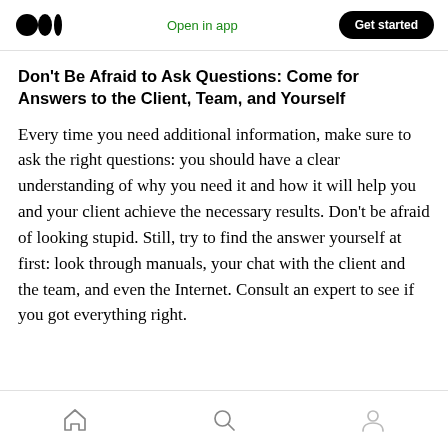Medium logo | Open in app | Get started
Don’t Be Afraid to Ask Questions: Come for Answers to the Client, Team, and Yourself
Every time you need additional information, make sure to ask the right questions: you should have a clear understanding of why you need it and how it will help you and your client achieve the necessary results. Don’t be afraid of looking stupid. Still, try to find the answer yourself at first: look through manuals, your chat with the client and the team, and even the Internet. Consult an expert to see if you got everything right.
Home | Search | Profile